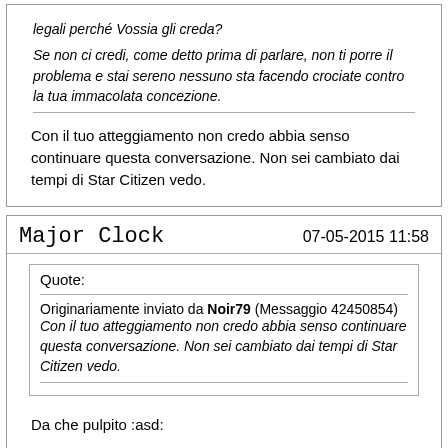legali perché Vossia gli creda?
Se non ci credi, come detto prima di parlare, non ti porre il problema e stai sereno nessuno sta facendo crociate contro la tua immacolata concezione.
Con il tuo atteggiamento non credo abbia senso continuare questa conversazione. Non sei cambiato dai tempi di Star Citizen vedo.
Major Clock
07-05-2015 11:58
Quote:
Originariamente inviato da Noir79 (Messaggio 42450854) Con il tuo atteggiamento non credo abbia senso continuare questa conversazione. Non sei cambiato dai tempi di Star Citizen vedo.
Da che pulpito :asd:
Cmq sono daccordo, quando tu intervieni a commento di post miei l'ultima cosa che mi viene in mente è che si stia "parlando". Mettimi in Ignore che nessuno si perde niente cosi.